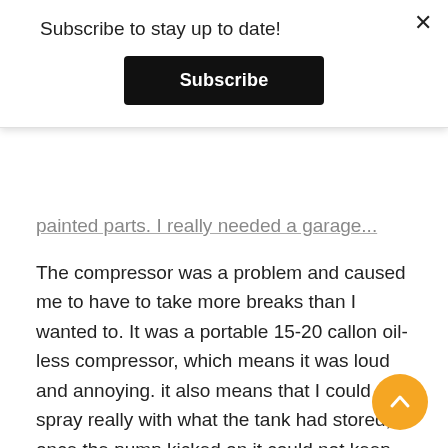Subscribe to stay up to date!
Subscribe
painted parts. I really needed a garage…
The compressor was a problem and caused me to have to take more breaks than I wanted to. It was a portable 15-20 callon oil-less compressor, which means it was loud and annoying. it also means that I could only spray really with what the tank had stored, once the pump kicked on it could not keep up with the CFM demand I needed. So I could get a couple parts done and have to stop and wait. I also had to take longer breaks when the compressor got too hot. Compressed air create moisture in the tank which end up in the airlines a in the paint. I had a cheap water separator on it bu eventually it got to much and I had to let it all cool